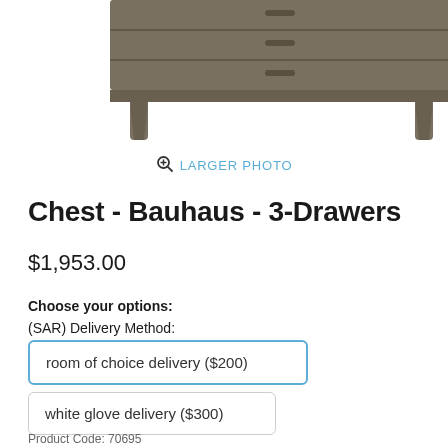[Figure (photo): Partial bottom view of a wooden chest/dresser (Bauhaus 3-Drawers) showing the lower drawers and tapered legs on a white background.]
🔍 LARGER PHOTO
Chest - Bauhaus - 3-Drawers
$1,953.00
Choose your options:
(SAR) Delivery Method:
room of choice delivery ($200)
white glove delivery ($300)
Product Code: 70695